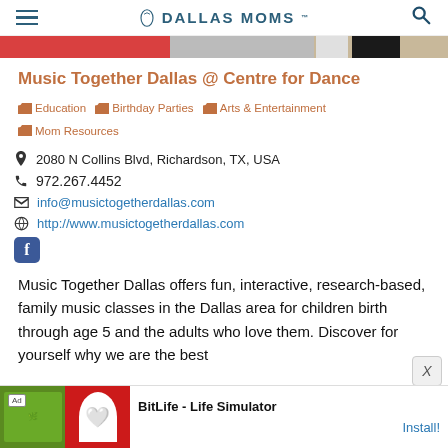DALLAS MOMS
Music Together Dallas @ Centre for Dance
Education  Birthday Parties  Arts & Entertainment  Mom Resources
2080 N Collins Blvd, Richardson, TX, USA
972.267.4452
info@musictogetherdallas.com
http://www.musictogetherdallas.com
Music Together Dallas offers fun, interactive, research-based, family music classes in the Dallas area for children birth through age 5 and the adults who love them. Discover for yourself why we are the best